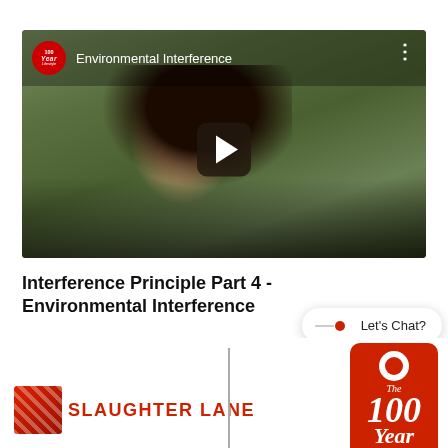[Figure (screenshot): YouTube video thumbnail for 'Environmental Interference' showing a young woman smiling and holding a phone, with a play button overlay. The 100 Year Lifestyle logo appears in the top-left of the player, and there are three dots in the top-right.]
Interference Principle Part 4 - Environmental Interference
[Figure (logo): Chat widget bubble with 'Let's Chat?' text and a red dot icon]
[Figure (logo): Slaughter Lane chiropractic logo and '100 Year' year badge in red at bottom of page]